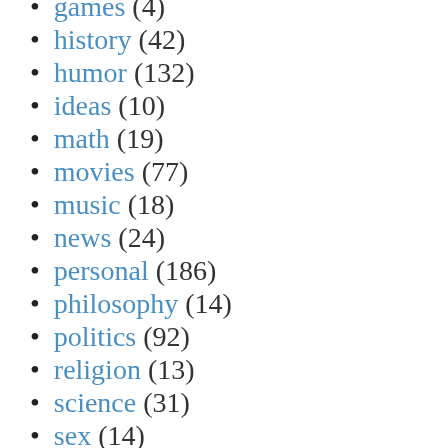games (4)
history (42)
humor (132)
ideas (10)
math (19)
movies (77)
music (18)
news (24)
personal (186)
philosophy (14)
politics (92)
religion (13)
science (31)
sex (14)
shopping (13)
sports (3)
starwars (20)